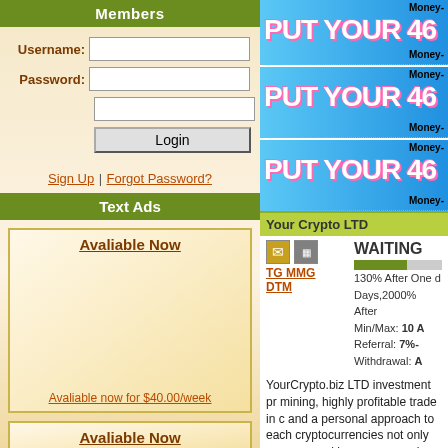Members
Username: [input] Password: [input] [extra input] Login
Sign Up | Forgot Password?
Text Ads
Avaliable Now
Avaliable now for $40.00/week
Avaliable Now
[Figure (screenshot): Banner ad with blue gradient background showing 'PUT YOUR 46' text and 'Money-' labels]
[Figure (screenshot): Second banner ad with blue gradient background showing 'PUT YOUR 46' text and 'Money-' labels]
[Figure (screenshot): Third banner ad with blue gradient background showing 'PUT YOUR 46' text and 'Money-' labels]
Your Crypto LTD
TG MMG DTM WAITING 130% After One d Days,2000% After Min/Max: 10 A Referral: 7%- Withdrawal: A
YourCrypto.biz LTD investment pr mining, highly profitable trade in c and a personal approach to each cryptocurrencies not only as a me working on an ongoing basis, and